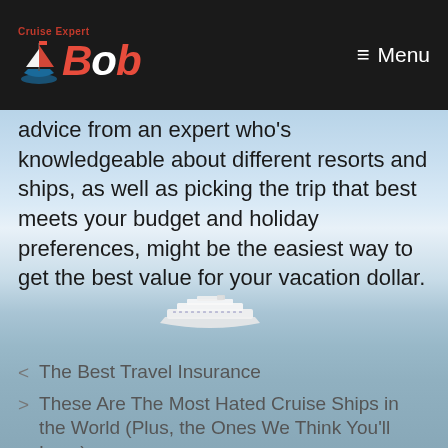Cruise Expert Bob | Menu
advice from an expert who's knowledgeable about different resorts and ships, as well as picking the trip that best meets your budget and holiday preferences, might be the easiest way to get the best value for your vacation dollar.
[Figure (illustration): Small white cruise ship on calm blue ocean water with sky background]
< The Best Travel Insurance
> These Are The Most Hated Cruise Ships in the World (Plus, the Ones We Think You'll Love)